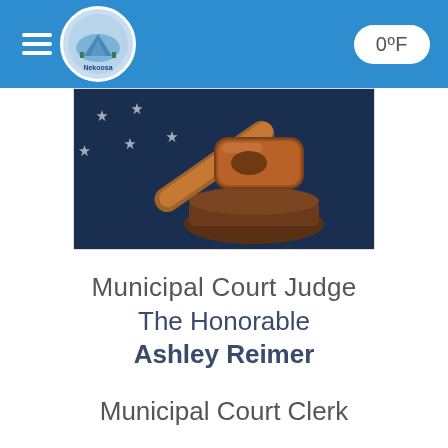Nekoosa city website header with hamburger menu, Nekoosa logo, and temperature 0°F
[Figure (photo): Close-up photograph of a wooden judge's gavel resting on its sound block, with an American flag with white stars on blue background in the background.]
Municipal Court Judge
The Honorable Ashley Reimer
Municipal Court Clerk